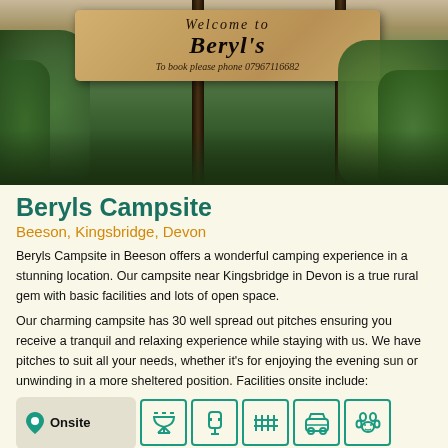[Figure (photo): Wooden welcome sign reading 'Welcome to Beryl's' with text 'To book please phone 07967116682', mounted on posts surrounded by lush green foliage]
Beryls Campsite
Beeson, Kingsbridge, Devon
Beryls Campsite in Beeson offers a wonderful camping experience in a stunning location. Our campsite near Kingsbridge in Devon is a true rural gem with basic facilities and lots of open space.
Our charming campsite has 30 well spread out pitches ensuring you receive a tranquil and relaxing experience while staying with us. We have pitches to suit all your needs, whether it's for enjoying the evening sun or unwinding in a more sheltered position. Facilities onsite include:
[Figure (infographic): Onsite facilities icons row showing: Onsite badge, BBQ/grill icon, electric hookup icon, tent pegs/fence icon, car park icon, pet-friendly icon]
[Figure (infographic): Second row of facility icons partially visible at bottom]